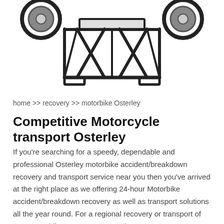[Figure (illustration): Line art illustration of a motorbike lifted on a scissor jack/motorcycle lift stand, viewed from the front. Wheels visible on left and right, stand structure shown with X-cross support legs and horizontal platform.]
home >> recovery >> motorbike Osterley
Competitive Motorcycle transport Osterley
If you're searching for a speedy, dependable and professional Osterley motorbike accident/breakdown recovery and transport service near you then you've arrived at the right place as we offering 24-hour Motorbike accident/breakdown recovery as well as transport solutions all the year round. For a regional recovery or transport of your motorbike, Scooter or Moped our Transport